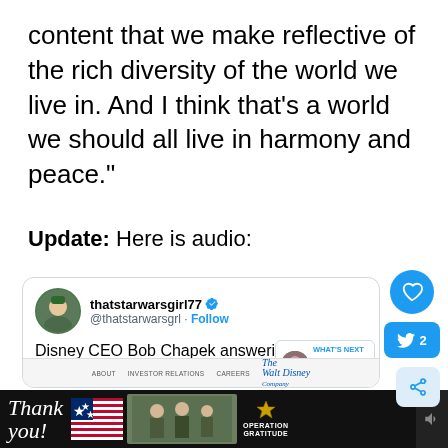content that we make reflective of the rich diversity of the world we live in. And I think that’s a world we should all live in harmony and peace.”
Update: Here is audio:
[Figure (screenshot): Tweet screenshot from thatstarwarsgirl77 (@thatstarwarsgrl) with Follow button. Tweet reads: Disney CEO Bob Chapek answering the Gina Carano question... An inset shows a What's Next box with Kathleen Kennedy photo. Below is a Disney website navigation bar. Side buttons: heart, Twitter bird with 2, share icon.]
[Figure (photo): Advertisement banner: Thank you text in cursive, American flag graphic, soldiers photo, Operation Gratitude logo with star, close button X]